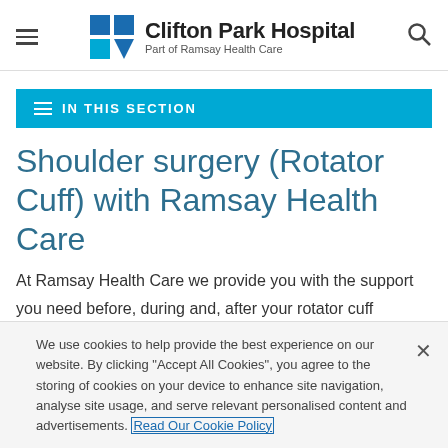Clifton Park Hospital — Part of Ramsay Health Care
IN THIS SECTION
Shoulder surgery (Rotator Cuff) with Ramsay Health Care
At Ramsay Health Care we provide you with the support you need before, during and, after your rotator cuff shoulder surgery, so you can recover as quickly as possible and return to the
We use cookies to help provide the best experience on our website. By clicking "Accept All Cookies", you agree to the storing of cookies on your device to enhance site navigation, analyse site usage, and serve relevant personalised content and advertisements. Read Our Cookie Policy